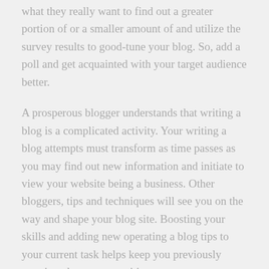what they really want to find out a greater portion of or a smaller amount of and utilize the survey results to good-tune your blog. So, add a poll and get acquainted with your target audience better.
A prosperous blogger understands that writing a blog is a complicated activity. Your writing a blog attempts must transform as time passes as you may find out new information and initiate to view your website being a business. Other bloggers, tips and techniques will see you on the way and shape your blog site. Boosting your skills and adding new operating a blog tips to your current task helps keep you previously mentioned your competition.
Writing articles or content that pull from your own personal encounters is a good idea. This will help for connecting far better with all the individuals who see